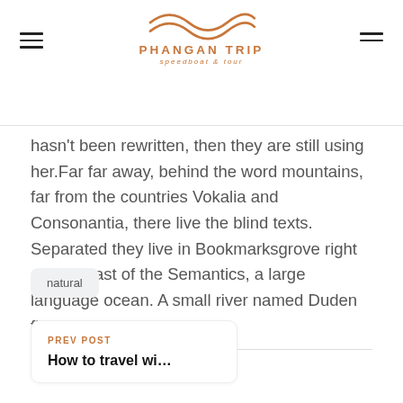PHANGAN TRIP speedboat & tour
hasn't been rewritten, then they are still using her.Far far away, behind the word mountains, far from the countries Vokalia and Consonantia, there live the blind texts. Separated they live in Bookmarksgrove right at the coast of the Semantics, a large language ocean. A small river named Duden flows by their plate.
natural
PREV POST
How to travel wi...